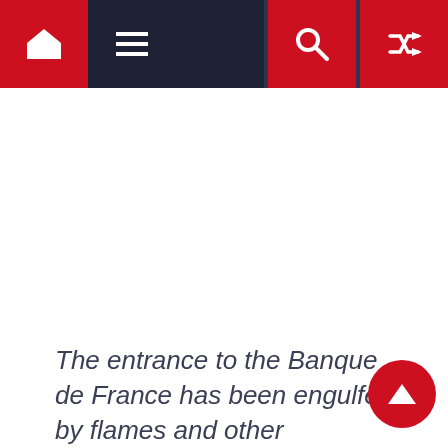[Figure (screenshot): Website navigation bar with dark navy background, red home icon button on far left, hamburger menu icon next, spacer area, then red search icon button and red shuffle/random icon button on far right]
The entrance to the Banque de France has been engulfed by flames and other